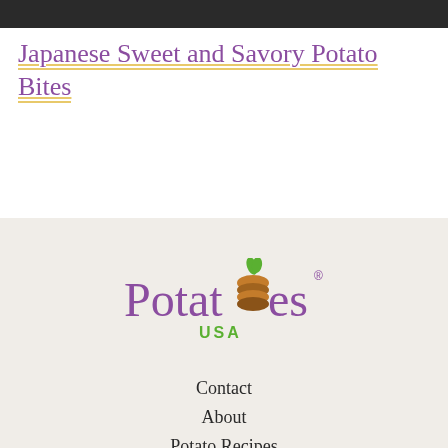[Figure (photo): Dark photograph strip at top of page]
Japanese Sweet and Savory Potato Bites
[Figure (logo): Potatoes USA logo with stylized potato icon and green leaf, purple text 'Potatoes' with brown potato graphic replacing the 'o', and green 'USA' text below]
Contact
About
Potato Recipes